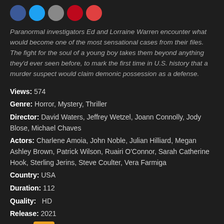[Figure (other): Social media sharing icons: Facebook (blue), Twitter (light blue), Email (gray), Pinterest (red), Reddit (orange-red)]
Paranormal investigators Ed and Lorraine Warren encounter what would become one of the most sensational cases from their files. The fight for the soul of a young boy takes them beyond anything they'd ever seen before, to mark the first time in U.S. history that a murder suspect would claim demonic possession as a defense.
Views: 574
Genre: Horror, Mystery, Thriller
Director: David Waters, Jeffrey Wetzel, Joann Connolly, Jody Blose, Michael Chaves
Actors: Charlene Amoia, John Noble, Julian Hilliard, Megan Ashley Brown, Patrick Wilson, Ruairi O'Connor, Sarah Catherine Hook, Sterling Jerins, Steve Coulter, Vera Farmiga
Country: USA
Duration: 112
Quality: HD
Release: 2021
IMDb: N/A
Keywords: #123movies #9movies #Charlene Amoia #Free #Gomovies #Gostream #John Noble #Julian Hilliard #Losmovie #Megan Ashley Brown #Movie25 #Movie4k #Movietv #Patrick Wilson #Primewire #Putlocker #Putlockers #Putlockertv #Ruairi